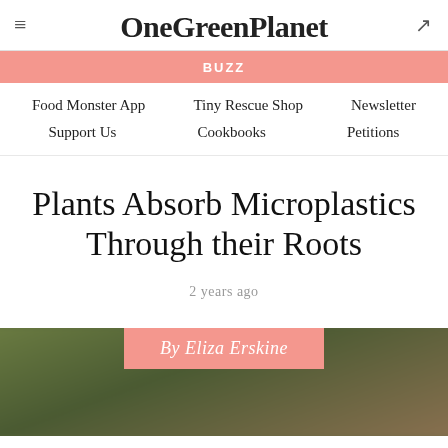OneGreenPlanet
BUZZ
Food Monster App   Tiny Rescue Shop   Newsletter   Support Us   Cookbooks   Petitions
Plants Absorb Microplastics Through their Roots
2 years ago
By Eliza Erskine
[Figure (photo): Blurred background photo of green plant leaves/foliage in dark earthy tones]